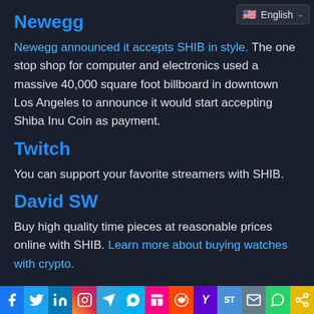[Figure (other): Language selector button showing US flag and 'English' with dropdown chevron]
Newegg
Newegg announced it accepts SHIB in style. The one stop shop for computer and electronics used a massive 40,000 square foot billboard in downtown Los Angeles to announce it would start accepting Shiba Inu Coin as payment.
Twitch
You can support your favorite streamers with SHIB.
David SW
Buy high quality time pieces at reasonable prices online with SHIB. Learn more about buying watches with crypto.
[Figure (other): Social media sharing bar with icons for Facebook, Twitter, LinkedIn, Instagram, Telegram, Skype, Flipboard, Reddit, Yahoo, ShareThis, Email, WhatsApp, and a share link icon]